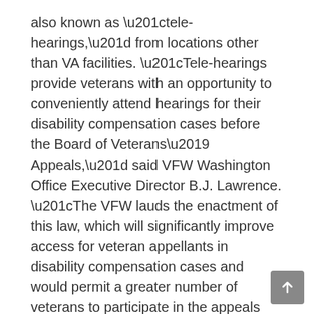also known as “tele-hearings,” from locations other than VA facilities. “Tele-hearings provide veterans with an opportunity to conveniently attend hearings for their disability compensation cases before the Board of Veterans’ Appeals,” said VFW Washington Office Executive Director B.J. Lawrence. “The VFW lauds the enactment of this law, which will significantly improve access for veteran appellants in disability compensation cases and would permit a greater number of veterans to participate in the appeals process.” The VFW thanks all original cosponsors for their efforts to expand veteran access to tele-hearings. Learn more.
3. VFW Sends Letter to President Trump to Keep VSO 48-Hour Claims Review: On Wednesday, the VFW sent a joint Veterans Service Organization (VSO) letter to